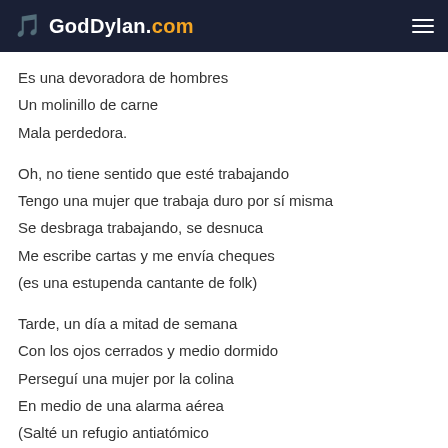GodDylan.com
Es una devoradora de hombres
Un molinillo de carne
Mala perdedora.
Oh, no tiene sentido que esté trabajando
Tengo una mujer que trabaja duro por sí misma
Se desbraga trabajando, se desnuca
Me escribe cartas y me envía cheques
(es una estupenda cantante de folk)
Tarde, un día a mitad de semana
Con los ojos cerrados y medio dormido
Perseguí una mujer por la colina
En medio de una alarma aérea
(Salté un refugio antiatómico
me salté en tallo de judías
me salté el forro)